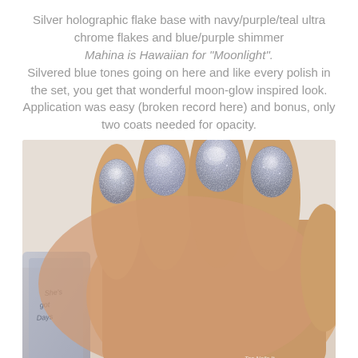Silver holographic flake base with navy/purple/teal ultra chrome flakes and blue/purple shimmer Mahina is Hawaiian for "Moonlight". Silvered blue tones going on here and like every polish in the set, you get that wonderful moon-glow inspired look. Application was easy (broken record here) and bonus, only two coats needed for opacity.
[Figure (photo): Close-up photograph of a hand with four fingers showing nails painted with a silver holographic glitter nail polish. The nails have a sparkling metallic silver appearance with chrome flake effect. A nail polish bottle is partially visible on the left. Watermark 'Too Nails It' visible in bottom right corner.]